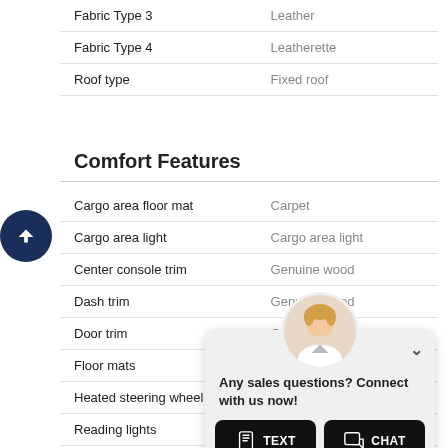| Feature | Value |
| --- | --- |
| Fabric Type 3 | Leather |
| Fabric Type 4 | Leatherette |
| Roof type | Fixed roof |
Comfort Features
| Feature | Value |
| --- | --- |
| Cargo area floor mat | Carpet |
| Cargo area light | Cargo area light |
| Center console trim | Genuine wood |
| Dash trim | Genuine wood |
| Door trim | Genuine wood |
| Floor mats | Carpet front and rear |
| Heated steering wheel | Heated steering wheel |
| Reading lights | Front and rear |
| Shift |  |
| Steer |  |
| Con |  |
| 12V D |  |
[Figure (screenshot): Chat widget overlay with an agent avatar, dismiss button, text 'Any sales questions? Connect with us now!', and two buttons: TEXT and CHAT]